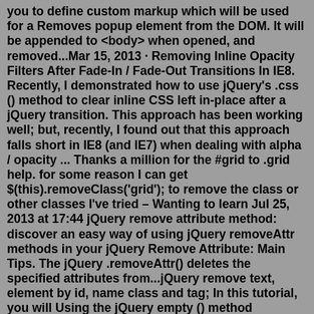you to define custom markup which will be used for a Removes popup element from the DOM. It will be appended to <body> when opened, and removed...Mar 15, 2013 · Removing Inline Opacity Filters After Fade-In / Fade-Out Transitions In IE8. Recently, I demonstrated how to use jQuery's .css () method to clear inline CSS left in-place after a jQuery transition. This approach has been working well; but, recently, I found out that this approach falls short in IE8 (and IE7) when dealing with alpha / opacity ... Thanks a million for the #grid to .grid help. for some reason I can get $(this).removeClass('grid'); to remove the class or other classes I've tried – Wanting to learn Jul 25, 2013 at 17:44 jQuery remove attribute method: discover an easy way of using jQuery removeAttr methods in your jQuery Remove Attribute: Main Tips. The jQuery .removeAttr() deletes the specified attributes from...jQuery remove text, element by id, name class and tag; In this tutorial, you will Using the jQuery empty () method